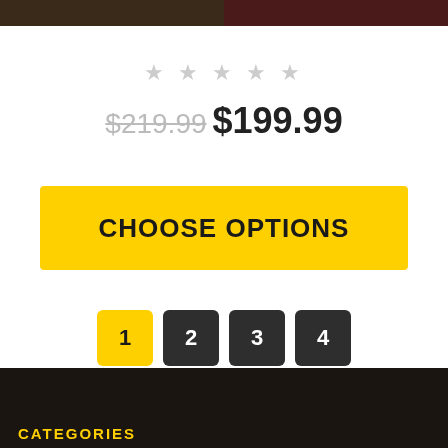[Figure (photo): Two product images side by side at top of page, dark/moody backgrounds]
★★★★★ (empty star rating)
$219.99 $199.99
CHOOSE OPTIONS
1  2  3  4  Next >
CATEGORIES